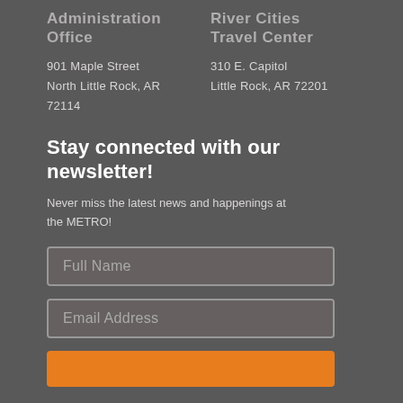Administration Office
901 Maple Street
North Little Rock, AR 72114
River Cities Travel Center
310 E. Capitol
Little Rock, AR 72201
Stay connected with our newsletter!
Never miss the latest news and happenings at the METRO!
Full Name
Email Address